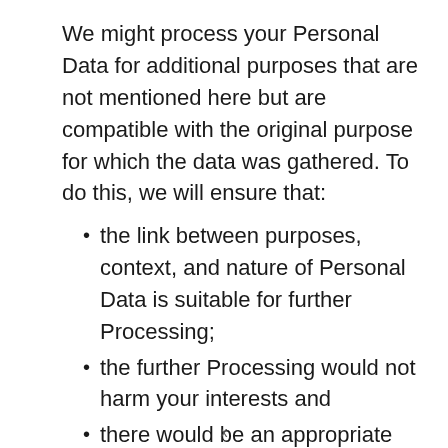We might process your Personal Data for additional purposes that are not mentioned here but are compatible with the original purpose for which the data was gathered. To do this, we will ensure that:
the link between purposes, context, and nature of Personal Data is suitable for further Processing;
the further Processing would not harm your interests and
there would be an appropriate safeguard for Processing.
x